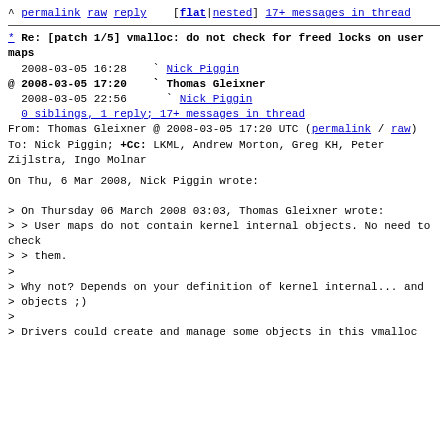^ permalink raw reply   [flat|nested] 17+ messages in thread
* Re: [patch 1/5] vmalloc: do not check for freed locks on user maps
2008-03-05 16:28    ` Nick Piggin
@ 2008-03-05 17:20    ` Thomas Gleixner
  2008-03-05 22:56      ` Nick Piggin
  0 siblings, 1 reply; 17+ messages in thread
From: Thomas Gleixner @ 2008-03-05 17:20 UTC (permalink / raw)
  To: Nick Piggin; +Cc: LKML, Andrew Morton, Greg KH, Peter Zijlstra, Ingo Molnar
On Thu, 6 Mar 2008, Nick Piggin wrote:

> On Thursday 06 March 2008 03:03, Thomas Gleixner wrote:
> > User maps do not contain kernel internal objects. No need to check
> > them.
>
> Why not? Depends on your definition of kernel internal... and
> objects ;)
>
> Drivers could create and manage some objects in this vmalloc